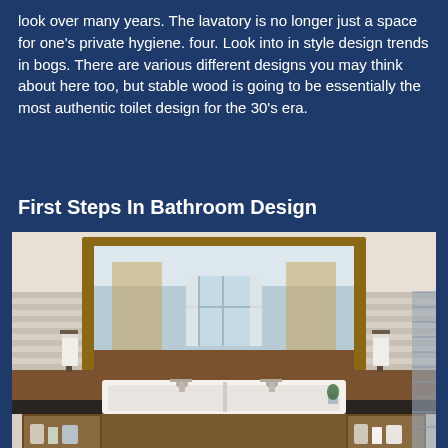look over many years. The lavatory is no longer just a space for one's private hygiene. four. Look into in style design trends in bogs. There are various different designs you may think about here too, but stable wood is going to be essentially the most authentic toilet design for the 30's era.
First Steps In Bathroom Design
[Figure (photo): Rustic farmhouse bathroom with large wood-framed mirror, double white farmhouse sink with two chrome faucets on dark countertop, wood-paneled walls, towels hanging on wall-mounted holders, wooden open shelving below, and a window with white curtains visible in mirror reflection.]